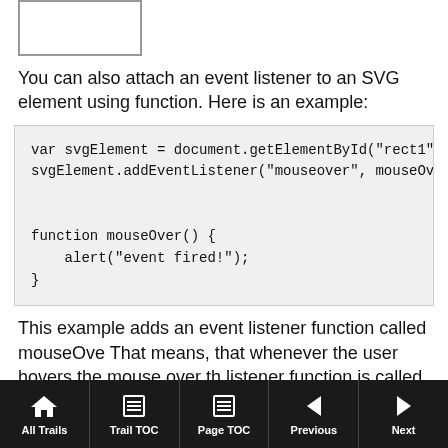[Figure (illustration): A white rectangle with a gray border, representing an SVG rect element on the page.]
You can also attach an event listener to an SVG element using function. Here is an example:
var svgElement = document.getElementById("rect1");
svgElement.addEventListener("mouseover", mouseOver);


function mouseOver() {
    alert("event fired!");
}
This example adds an event listener function called mouseOve That means, that whenever the user hovers the mouse over th listener function is called.
Animating SVG Shapes
All Trails  Trail TOC  Page TOC  Previous  Next